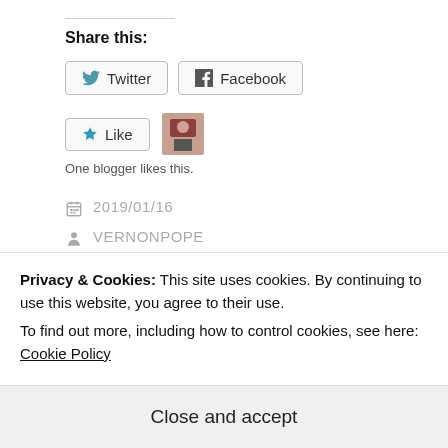Share this:
Twitter  Facebook
[Figure (other): Like button with star icon and blogger avatar thumbnail]
One blogger likes this.
2019/01/16
VERNONPOPE
CITIZENSHIP, DONALD TRUMP, ILLEGAL IMMIGRATION, IMMIGRAION, PELOSI
Privacy & Cookies: This site uses cookies. By continuing to use this website, you agree to their use.
To find out more, including how to control cookies, see here:
Cookie Policy
Close and accept